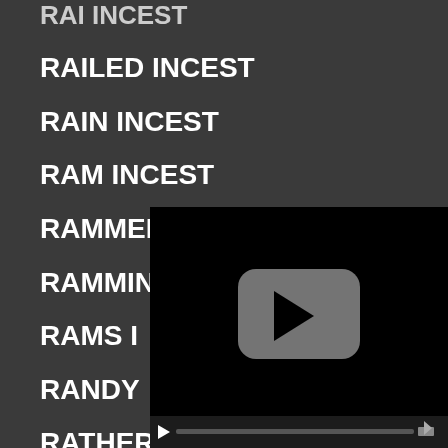RAILED INCEST
RAIN INCEST
RAM INCEST
RAMMED
RAMMING
RAMS I
RANDY
RATHER
[Figure (screenshot): Video player overlay with black background, gray rounded rectangle play button icon in center, and video controls bar at bottom with progress bar and volume icon]